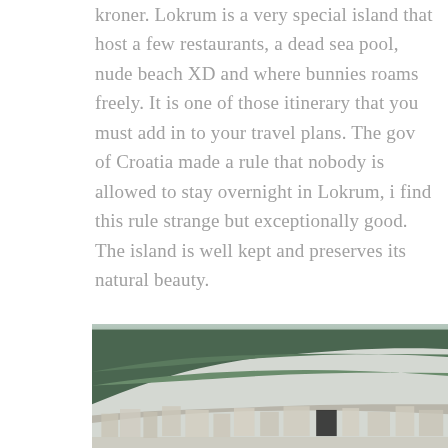kroner. Lokrum is a very special island that host a few restaurants, a dead sea pool, nude beach XD and where bunnies roams freely. It is one of those itinerary that you must add in to your travel plans. The gov of Croatia made a rule that nobody is allowed to stay overnight in Lokrum, i find this rule strange but exceptionally good. The island is well kept and preserves its natural beauty.
[Figure (photo): Photograph of a hillside coastal town with dense green forested hills in the background and white/terracotta roofed buildings in the foreground, likely Dubrovnik or nearby Croatia, overcast sky]